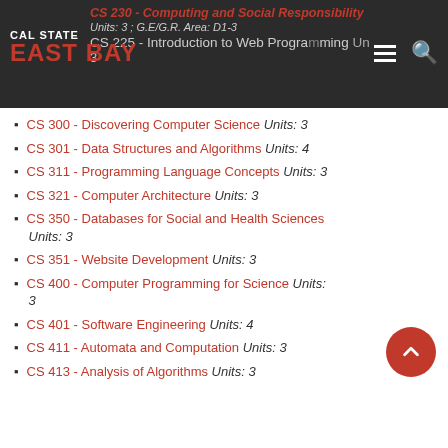CS 230 - Computing and Social Responsibility Units: 3; G.E/G.R. Area: D1-3 | CS 225 - Introduction to Web Programming Units: 3
CS 300 - Discovering Computer Science Units: 3
CS 301 - Data Structures and Algorithms Units: 4
CS 311 - Programming Language Concepts Units: 3
CS 321 - Computer Architecture Units: 3
CS 350 - Databases for Social and Health Sciences Units: 3
CS 351 - Website Development Units: 3
CS 400 - Computer Programming for Science Units: 3
CS 401 - Software Engineering Units: 4
CS 411 - Automata and Computation Units: 3
CS 413 - Analysis of Algorithms Units: 3